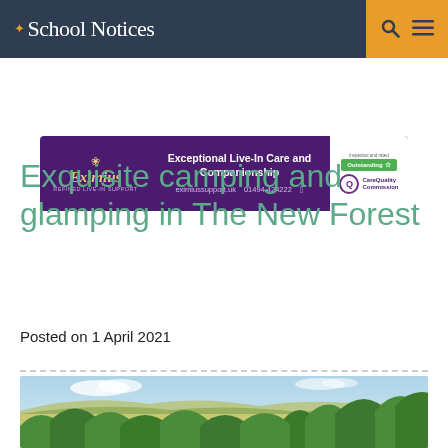School Notices
[Figure (illustration): Eximius care advertisement banner: Exceptional Live-In Care and Companionship, eximiussupport.uk, 01494 424222, CareQuality Commission Outstanding rating]
Exquisite camping and glamping in The New Forest
Posted on 1 April 2021
[Figure (photo): Landscape photo showing green treetops in foreground with rolling hills and fields under a partly cloudy sky in the background, likely The New Forest area]